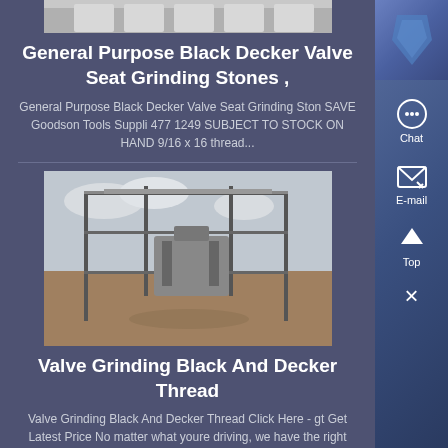[Figure (photo): Top portion of a product image showing industrial equipment, partially cut off at the top of the page]
General Purpose Black Decker Valve Seat Grinding Stones ,
General Purpose Black Decker Valve Seat Grinding Ston SAVE Goodson Tools Suppli 477 1249 SUBJECT TO STOCK ON HAND 9/16 x 16 thread...
[Figure (photo): Industrial grinding or processing facility with metal frame structure outdoors on a dirt ground]
Valve Grinding Black And Decker Thread
Valve Grinding Black And Decker Thread Click Here - gt Get Latest Price No matter what youre driving, we have the right black decker valve grinder for your automobileQuality auto parts, new, used and recycled auto parts for saleBlack decker style valve seat grinding complete kit high speed grinder 220v 5017x valve seat grinding stones black decker 916 x 16 tpi thread ,...